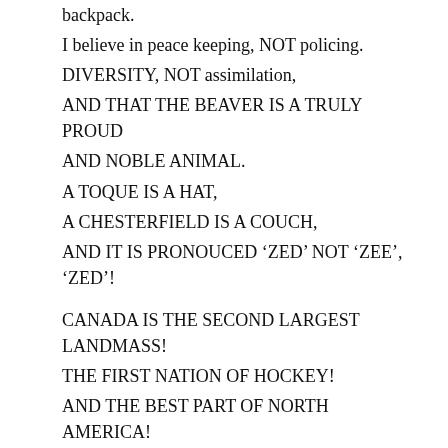backpack.
I believe in peace keeping, NOT policing.
DIVERSITY, NOT assimilation,
AND THAT THE BEAVER IS A TRULY PROUD
AND NOBLE ANIMAL.
A TOQUE IS A HAT,
A CHESTERFIELD IS A COUCH,
AND IT IS PRONOUCED ‘ZED’ NOT ‘ZEE’, ‘ZED’!
CANADA IS THE SECOND LARGEST LANDMASS!
THE FIRST NATION OF HOCKEY!
AND THE BEST PART OF NORTH AMERICA!
MY NAME IS JOE!
AND I AM CANADIAN!